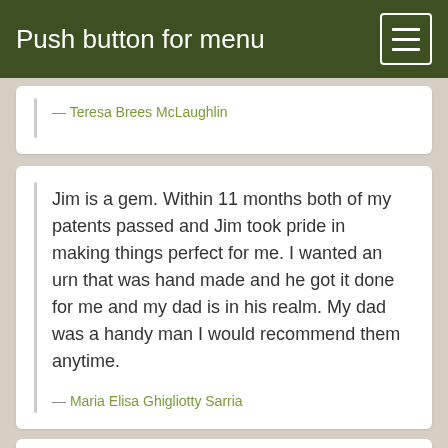Push button for menu
— Teresa Brees McLaughlin
Jim is a gem. Within 11 months both of my patents passed and Jim took pride in making things perfect for me. I wanted an urn that was hand made and he got it done for me and my dad is in his realm. My dad was a handy man I would recommend them anytime.
— Maria Elisa Ghigliotty Sarria